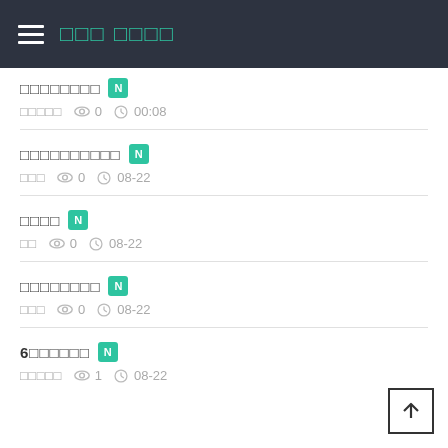☰ □□ □□□□
□□□□□□□□ N  □□□□□  👁 0  🕐 00:08
□□□□□□□□□□ N  □□□  👁 0  🕐 08-22
□□□□ N  □□  👁 0  🕐 08-22
□□□□□□□□ N  □□□  👁 0  🕐 08-22
6□□□□□□ N  □□□□□  👁 1  🕐 08-22